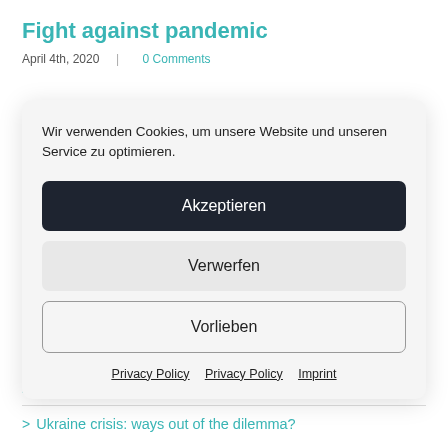Fight against pandemic
April 4th, 2020  |  0 Comments
Wir verwenden Cookies, um unsere Website und unseren Service zu optimieren.
Akzeptieren
Verwerfen
Vorlieben
Privacy Policy  Privacy Policy  Imprint
> Hello World!
> Ukraine crisis: ways out of the dilemma?